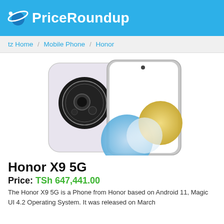PriceRoundup
tz Home / Mobile Phone / Honor
[Figure (photo): Honor X9 5G smartphone shown from front and back angles. The back features a large circular camera module. The front screen shows colorful abstract wallpaper with blue, gold, and white circles. Color: silver/white.]
Honor X9 5G
Price: TSh 647,441.00
The Honor X9 5G is a Phone from Honor based on Android 11, Magic UI 4.2 Operating System. It was released on March